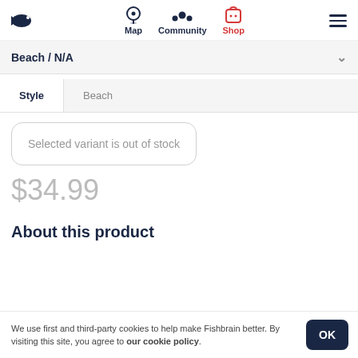Fishbrain navigation header with logo, Map, Community, Shop, and hamburger menu
Beach / N/A
| Style | Beach |
| --- | --- |
Selected variant is out of stock
$34.99
About this product
We use first and third-party cookies to help make Fishbrain better. By visiting this site, you agree to our cookie policy.